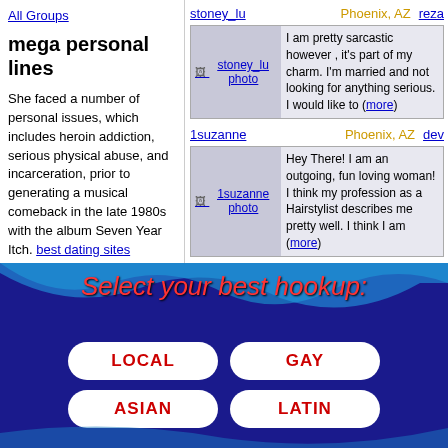All Groups
mega personal lines
She faced a number of personal issues, which includes heroin addiction, serious physical abuse, and incarceration, prior to generating a musical comeback in the late 1980s with the album Seven Year Itch. best dating sites edmonton Is your worst nightmare going on a date with somebody super hot just to come across out they never care about women s challenges? OkCupid understands that the hottest, coolest particular
stoney_lu   Phoenix, AZ   reza
I am pretty sarcastic however , it's part of my charm. I'm married and not looking for anything serious. I would like to (more)
1suzanne   Phoenix, AZ   dev
Hey There! I am an outgoing, fun loving woman! I think my profession as a Hairstylist describes me pretty well. I think I am (more)
katieascherl   Phoenix, AZ   bub
I'm a fun out going girl that loves to have a good time. I'm not hard
Select your best hookup:
LOCAL
GAY
ASIAN
LATIN